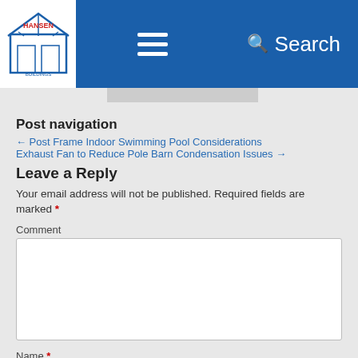Hansen Buildings — Search
Post navigation
← Post Frame Indoor Swimming Pool Considerations
Exhaust Fan to Reduce Pole Barn Condensation Issues →
Leave a Reply
Your email address will not be published. Required fields are marked *
Comment
Name *